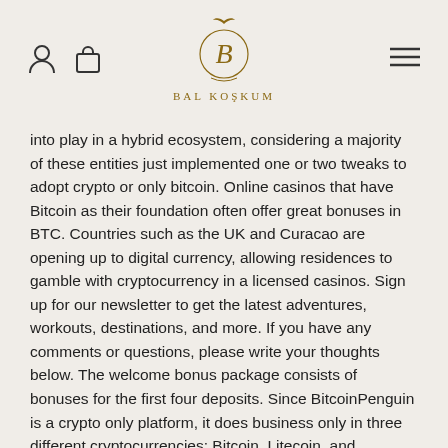Bal Koşkum
into play in a hybrid ecosystem, considering a majority of these entities just implemented one or two tweaks to adopt crypto or only bitcoin. Online casinos that have Bitcoin as their foundation often offer great bonuses in BTC. Countries such as the UK and Curacao are opening up to digital currency, allowing residences to gamble with cryptocurrency in a licensed casinos. Sign up for our newsletter to get the latest adventures, workouts, destinations, and more. If you have any comments or questions, please write your thoughts below. The welcome bonus package consists of bonuses for the first four deposits. Since BitcoinPenguin is a crypto only platform, it does business only in three different cryptocurrencies: Bitcoin, Litecoin, and Dogecoin. All new players, who verified their account are eligible to receive either FortuneJack's First Deposit 20% Cashback or First Deposit Bonus 110% up to 1. If your wallet remains empty, use a trustworthy exchange to add Bitcoin. The problem is that traditionally. Using bitcoin as a payment tool, you do not need to keep a whole staff of employees who will keep track of each game of poker to ensure security. Author and Guarantor:Liza Yaroslavska. Some of the biggest welcome bonuses and ongoing promotions can be found at crypto gambling sites such